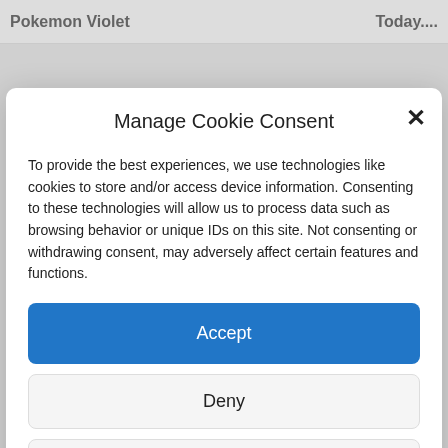Pokemon Violet    Today....
Manage Cookie Consent
To provide the best experiences, we use technologies like cookies to store and/or access device information. Consenting to these technologies will allow us to process data such as browsing behavior or unique IDs on this site. Not consenting or withdrawing consent, may adversely affect certain features and functions.
Accept
Deny
View preferences
Cookie Policy